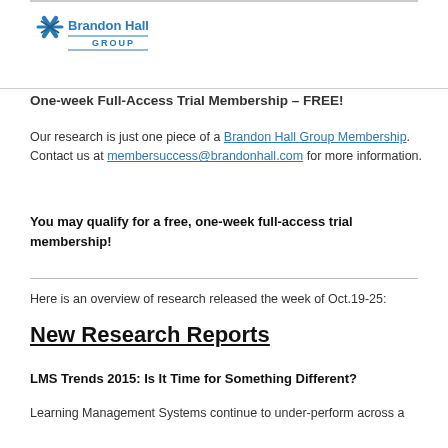[Figure (logo): Brandon Hall Group logo with stylized X mark and text 'Brandon Hall GROUP']
One-week Full-Access Trial Membership – FREE!
Our research is just one piece of a Brandon Hall Group Membership. Contact us at membersuccess@brandonhall.com for more information.
You may qualify for a free, one-week full-access trial membership!
Here is an overview of research released the week of Oct.19-25:
New Research Reports
LMS Trends 2015: Is It Time for Something Different?
Learning Management Systems continue to under-perform across a